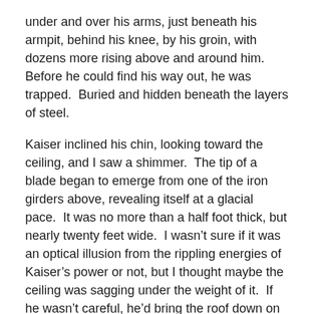under and over his arms, just beneath his armpit, behind his knee, by his groin, with dozens more rising above and around him. Before he could find his way out, he was trapped.  Buried and hidden beneath the layers of steel.
Kaiser inclined his chin, looking toward the ceiling, and I saw a shimmer.  The tip of a blade began to emerge from one of the iron girders above, revealing itself at a glacial pace.  It was no more than a half foot thick, but nearly twenty feet wide.  I wasn't sure if it was an optical illusion from the rippling energies of Kaiser's power or not, but I thought maybe the ceiling was sagging under the weight of it.  If he wasn't careful, he'd bring the roof down on our heads.
Then Kaiser lowered his head to face the area where Lung was trapped and the massive sword he'd manifested in